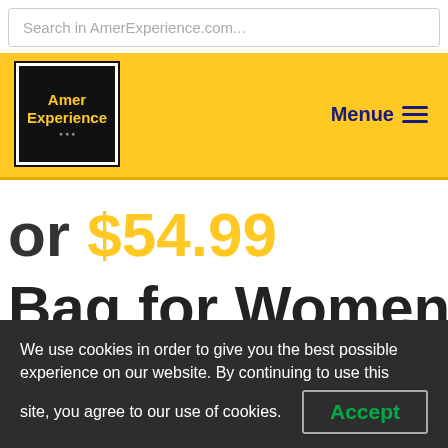Search in AmerExperience.com...
[Figure (logo): AmerExperience logo: black square with yellow text 'Amer Experience' on yellow background header with 'Menue' menu button]
or $54.99
Bag for Women
We use cookies in order to give you the best possible experience on our website. By continuing to use this site, you agree to our use of cookies.  Accept